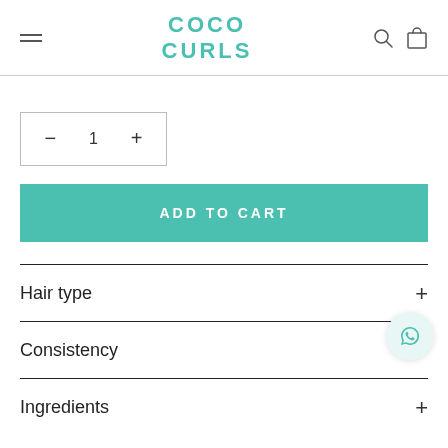COCO CURLS
- 1 +
ADD TO CART
Hair type +
Consistency +
Ingredients +